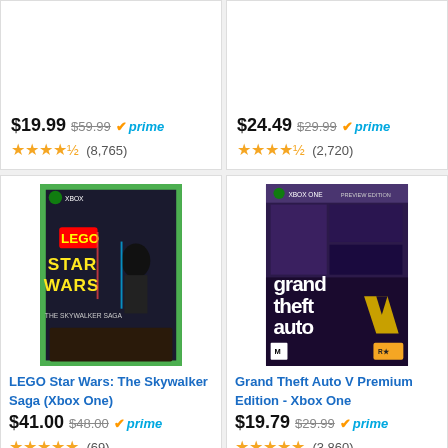Xbox Bonus A|G, Xbox One — $19.99 (was $59.99) prime ★★★★☆ (8,765)
Edition – Xbox Bonus A & — $24.49 (was $29.99) prime ★★★★☆ (2,720)
[Figure (photo): LEGO Star Wars: The Skywalker Saga Xbox One game cover art]
LEGO Star Wars: The Skywalker Saga (Xbox One) — $41.00 (was $48.00) prime ★★★★★ (69)
[Figure (photo): Grand Theft Auto V Premium Edition Xbox One game cover art]
Grand Theft Auto V Premium Edition - Xbox One — $19.79 (was $29.99) prime ★★★★★ (3,860)
Ads by Amazon
PC
Ooblets' cute creature-farming will hit 1.0 next